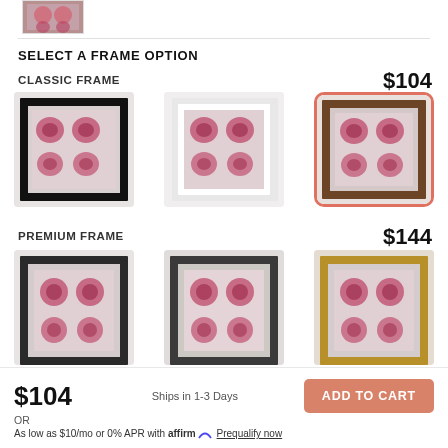[Figure (screenshot): Thumbnail of decorative artwork at top]
SELECT A FRAME OPTION
CLASSIC FRAME
$104
[Figure (photo): Three classic frame options for artwork — black frame, white frame, and brown/walnut frame (selected, highlighted with red/salmon border)]
PREMIUM FRAME
$144
[Figure (photo): Three premium frame options for artwork — dark frame, dark gray frame, gold frame (partially visible, cropped at bottom)]
$104
Ships in 1-3 Days
ADD TO CART
OR
As low as $10/mo or 0% APR with affirm Prequalify now